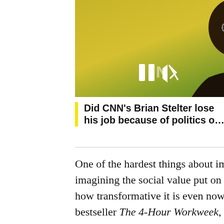[Figure (screenshot): Video thumbnail showing a man in a dark suit with a purple tie speaking at an event, with a yellow/green background. Video controls visible including pause and mute icons, and a yellow arrow button.]
Did CNN's Brian Stelter lose his job because of politics o...
One of the hardest things about imagining a post-work world is imagining the social value put on non-work. But you can see hints of how transformative it is even now. In Timothy Ferriss's runaway bestseller The 4-Hour Workweek, he frames his advice as a manual for joining the New Rich. What separates the New Rich from the Old Rich? Mainly that the new rich barely do any work, and they don't much care about money. "Gold is getting old," Ferriss writes.